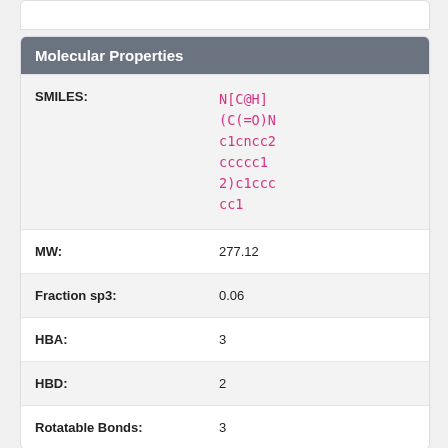| Property | Value |
| --- | --- |
| SMILES: | N[C@H](C(=O)Nc1cncc2ccccc12)c1ccccc1 |
| MW: | 277.12 |
| Fraction sp3: | 0.06 |
| HBA: | 3 |
| HBD: | 2 |
| Rotatable Bonds: | 3 |